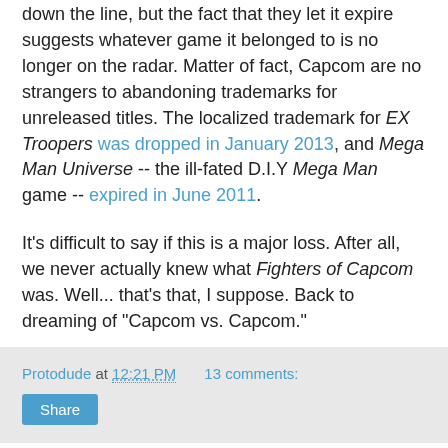down the line, but the fact that they let it expire suggests whatever game it belonged to is no longer on the radar. Matter of fact, Capcom are no strangers to abandoning trademarks for unreleased titles. The localized trademark for EX Troopers was dropped in January 2013, and Mega Man Universe -- the ill-fated D.I.Y Mega Man game -- expired in June 2011.
It's difficult to say if this is a major loss. After all, we never actually knew what Fighters of Capcom was. Well... that's that, I suppose. Back to dreaming of "Capcom vs. Capcom."
Protodude at 12:21 PM    13 comments:
Share
Friday, January 17, 2014
Mega Man Board Game Kickstarter Ending Soon